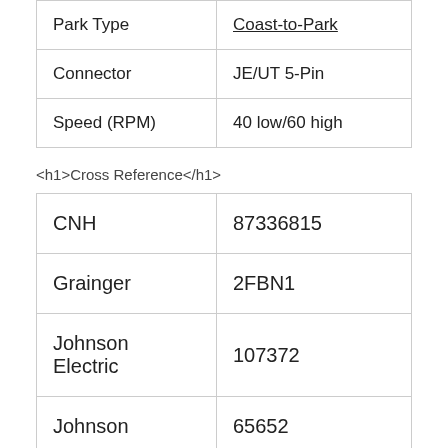| Park Type | Coast-to-Park |
| Connector | JE/UT 5-Pin |
| Speed (RPM) | 40 low/60 high |
<h1>Cross Reference</h1>
| CNH | 87336815 |
| Grainger | 2FBN1 |
| Johnson Electric | 107372 |
| Johnson | 65652 |